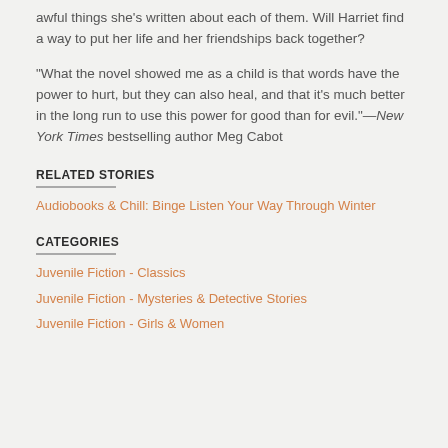awful things she's written about each of them. Will Harriet find a way to put her life and her friendships back together?
"What the novel showed me as a child is that words have the power to hurt, but they can also heal, and that it's much better in the long run to use this power for good than for evil."—New York Times bestselling author Meg Cabot
RELATED STORIES
Audiobooks & Chill: Binge Listen Your Way Through Winter
CATEGORIES
Juvenile Fiction - Classics
Juvenile Fiction - Mysteries & Detective Stories
Juvenile Fiction - Girls & Women